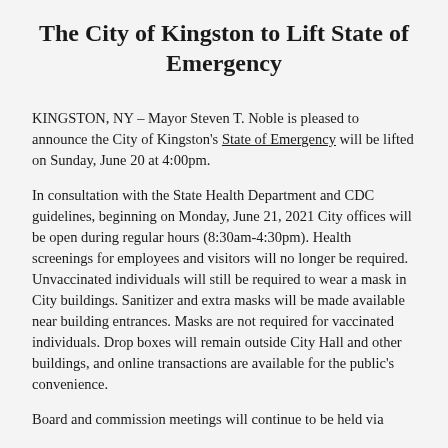The City of Kingston to Lift State of Emergency
KINGSTON, NY – Mayor Steven T. Noble is pleased to announce the City of Kingston's State of Emergency will be lifted on Sunday, June 20 at 4:00pm.
In consultation with the State Health Department and CDC guidelines, beginning on Monday, June 21, 2021 City offices will be open during regular hours (8:30am-4:30pm). Health screenings for employees and visitors will no longer be required. Unvaccinated individuals will still be required to wear a mask in City buildings. Sanitizer and extra masks will be made available near building entrances. Masks are not required for vaccinated individuals. Drop boxes will remain outside City Hall and other buildings, and online transactions are available for the public's convenience.
Board and commission meetings will continue to be held via